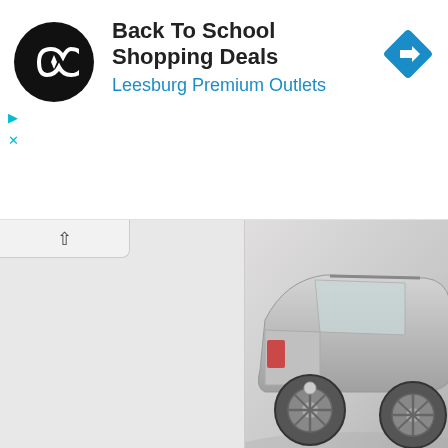[Figure (screenshot): Advertisement banner: circular black logo with arrow icon, title 'Back To School Shopping Deals', subtitle 'Leesburg Premium Outlets' in blue, blue diamond navigation icon on right. Ad controls (play/close) on left side.]
[Figure (screenshot): Left side map panel (gray) with collapse button showing caret up. Right side shows photo of silver 2011 Mercedes Benz #350 4Matic Wagon from rear-three-quarter view on white background, with italic caption below and a second partially visible vehicle image.]
▲ 2011 Mercedes Benz #350 4Matic Wag...